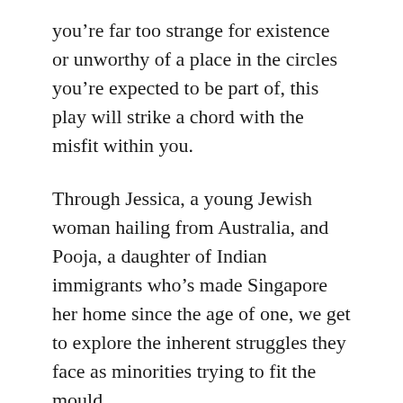you're far too strange for existence or unworthy of a place in the circles you're expected to be part of, this play will strike a chord with the misfit within you.
Through Jessica, a young Jewish woman hailing from Australia, and Pooja, a daughter of Indian immigrants who's made Singapore her home since the age of one, we get to explore the inherent struggles they face as minorities trying to fit the mould.
That's where hip-hop comes in as a powerful catalyst for transformation. Music that celebrates freedom and challenges the